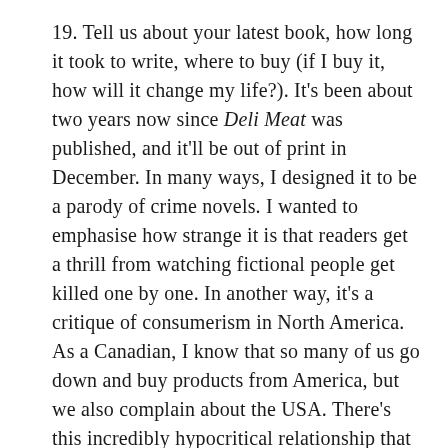19. Tell us about your latest book, how long it took to write, where to buy (if I buy it, how will it change my life?). It's been about two years now since Deli Meat was published, and it'll be out of print in December. In many ways, I designed it to be a parody of crime novels. I wanted to emphasise how strange it is that readers get a thrill from watching fictional people get killed one by one. In another way, it's a critique of consumerism in North America. As a Canadian, I know that so many of us go down and buy products from America, but we also complain about the USA. There's this incredibly hypocritical relationship that we have with our closest neighbours. You can